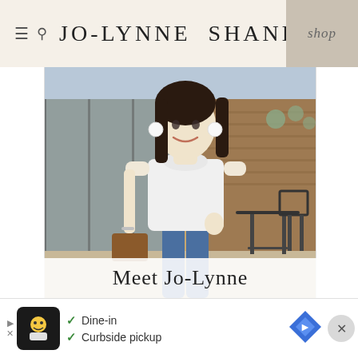JO-LYNNE SHANE
[Figure (photo): Woman with dark hair wearing a white v-neck t-shirt and blue jeans, smiling outdoors in front of a brick building with outdoor cafe seating. She has white drop earrings and is holding a brown bag.]
Meet Jo-Lynne
[Figure (infographic): Advertisement banner showing a restaurant logo icon, checkmarks for 'Dine-in' and 'Curbside pickup', a blue navigation diamond icon, and a close button.]